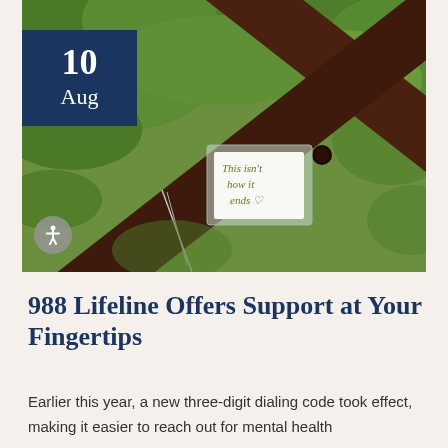[Figure (photo): Outdoor photo of a wooden X-shaped structure (bridge or fence) with a handwritten note attached reading 'This isn't how it ends ♡', surrounded by green foliage]
988 Lifeline Offers Support at Your Fingertips
Earlier this year, a new three-digit dialing code took effect, making it easier to reach out for mental health